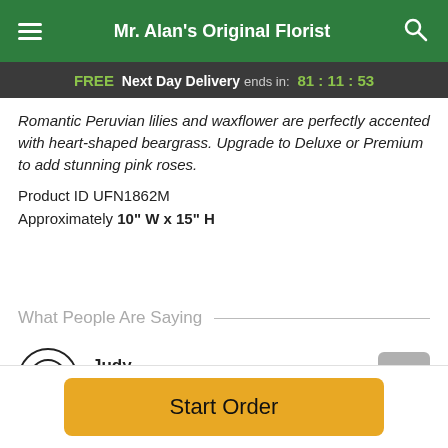Mr. Alan's Original Florist
FREE Next Day Delivery ends in: 81:11:53
Romantic Peruvian lilies and waxflower are perfectly accented with heart-shaped beargrass. Upgrade to Deluxe or Premium to add stunning pink roses.
Product ID UFN1862M
Approximately 10" W x 15" H
What People Are Saying
Judy
★★★★★ August 18, 2022
Start Order